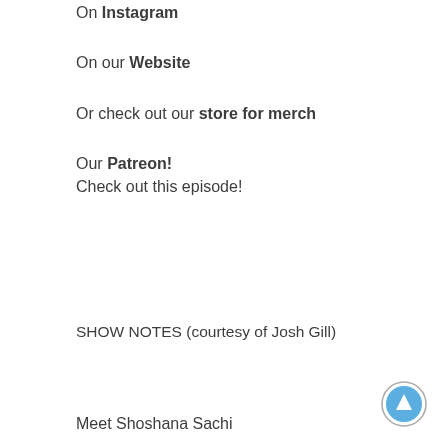On Instagram
On our Website
Or check out our store for merch
Our Patreon!
Check out this episode!
SHOW NOTES (courtesy of Josh Gill)
Meet Shoshana Sachi
[Figure (other): Circular scroll-to-top button with upward arrow in blue]